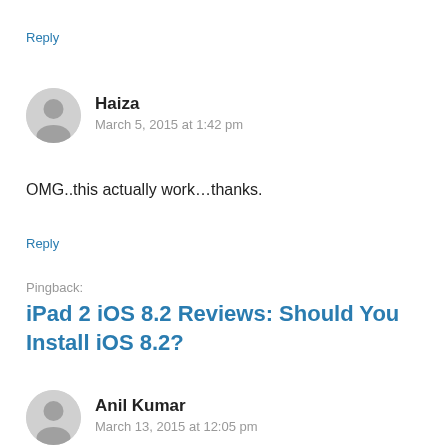Reply
Haiza
March 5, 2015 at 1:42 pm
OMG..this actually work…thanks.
Reply
Pingback:
iPad 2 iOS 8.2 Reviews: Should You Install iOS 8.2?
Anil Kumar
March 13, 2015 at 12:05 pm